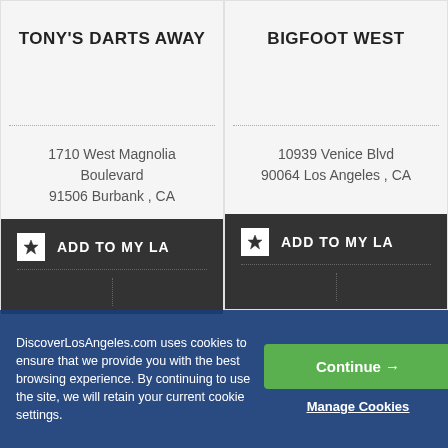TONY'S DARTS AWAY
1710 West Magnolia Boulevard
91506 Burbank , CA
ADD TO MY LA
BIGFOOT WEST
10939 Venice Blvd
90064 Los Angeles , CA
ADD TO MY LA
DiscoverLosAngeles.com uses cookies to ensure that we provide you with the best browsing experience. By continuing to use the site, we will retain your current cookie settings.
Continue →
Manage Cookies